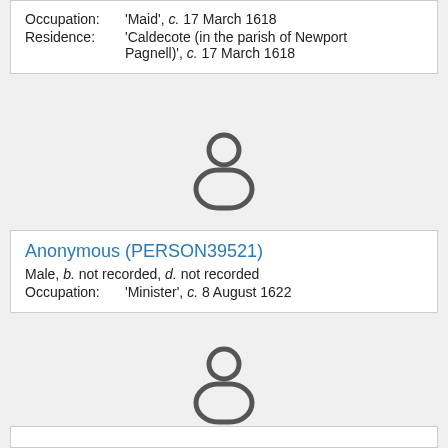| Occupation: | 'Maid', c. 17 March 1618 |
| Residence: | 'Caldecote (in the parish of Newport Pagnell)', c. 17 March 1618 |
[Figure (illustration): Generic person silhouette icon (head circle and body rounded square), grey outline style]
| Anonymous (PERSON39521) |  |
| Male, b. not recorded, d. not recorded |  |
| Occupation: | 'Minister', c. 8 August 1622 |
[Figure (illustration): Generic person silhouette icon (head circle and body rounded square), grey outline style]